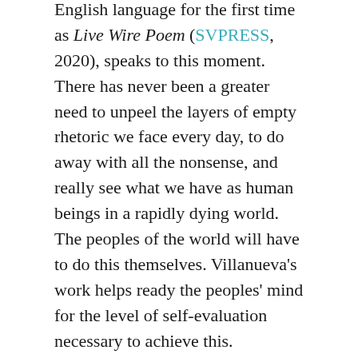English language for the first time as Live Wire Poem (SVPRESS, 2020), speaks to this moment. There has never been a greater need to unpeel the layers of empty rhetoric we face every day, to do away with all the nonsense, and really see what we have as human beings in a rapidly dying world. The peoples of the world will have to do this themselves. Villanueva's work helps ready the peoples' mind for the level of self-evaluation necessary to achieve this.
There is so much good poetry from Puerto Rico out there, especially from our modern writers, yet not enough people are uplifting and discussing these voices. I see a new movement right now, which provides hope. I'm glad to have, through SVPRESS and other literary collaborations, the chance to also